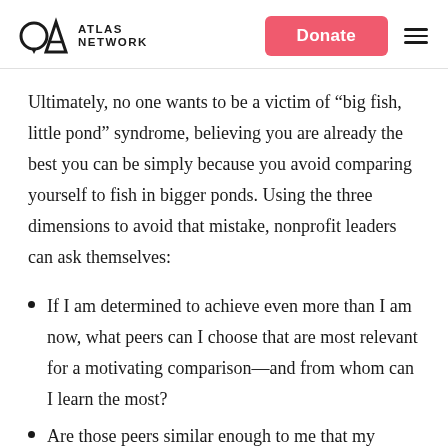ATLAS NETWORK | Donate
Ultimately, no one wants to be a victim of “big fish, little pond” syndrome, believing you are already the best you can be simply because you avoid comparing yourself to fish in bigger ponds. Using the three dimensions to avoid that mistake, nonprofit leaders can ask themselves:
If I am determined to achieve even more than I am now, what peers can I choose that are most relevant for a motivating comparison—and from whom can I learn the most?
Are those peers similar enough to me that my